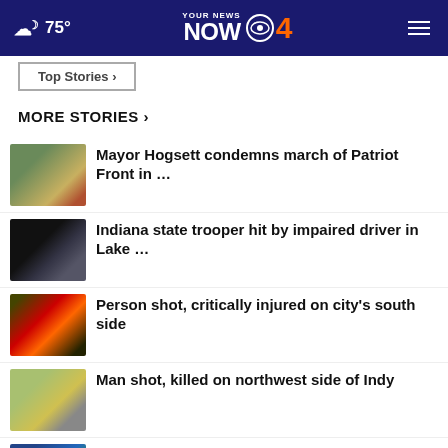75° YOUR NEWS NOW CBS 4 [navigation]
Top Stories ▸
MORE STORIES ›
Mayor Hogsett condemns march of Patriot Front in …
Indiana state trooper hit by impaired driver in Lake …
Person shot, critically injured on city's south side
Man shot, killed on northwest side of Indy
Spotty rain chances through the week